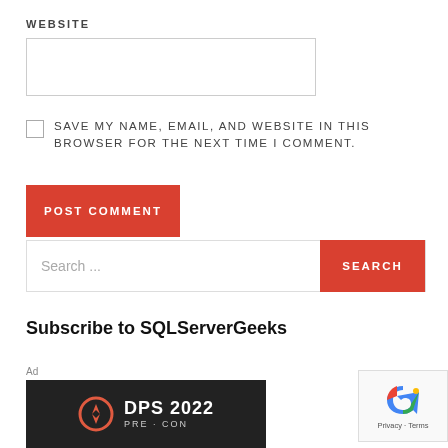WEBSITE
[Figure (other): Empty text input field for website URL]
SAVE MY NAME, EMAIL, AND WEBSITE IN THIS BROWSER FOR THE NEXT TIME I COMMENT.
POST COMMENT
Search...
SEARCH
Subscribe to SQLServerGeeks
Ad
[Figure (other): DPS 2022 PRE-CON advertisement banner on dark background with logo]